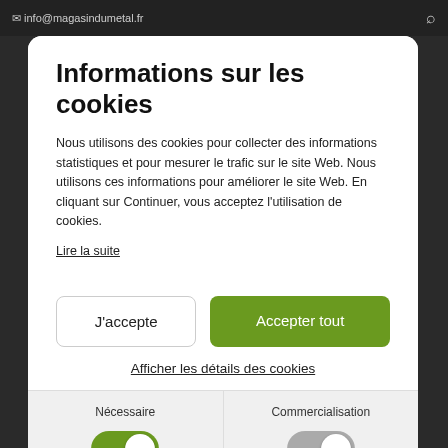✉ info@magasindumetal.fr
Informations sur les cookies
Nous utilisons des cookies pour collecter des informations statistiques et pour mesurer le trafic sur le site Web. Nous utilisons ces informations pour améliorer le site Web. En cliquant sur Continuer, vous acceptez l'utilisation de cookies.
Lire la suite
J'accepte
Accepter tout
Afficher les détails des cookies
Nécessaire
Commercialisation
Fonctionnel
Statistique